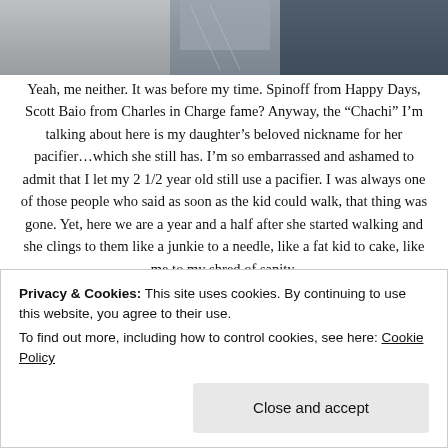[Figure (photo): Partial photo of a person visible at top of page, cropped]
Yeah, me neither. It was before my time. Spinoff from Happy Days, Scott Baio from Charles in Charge fame? Anyway, the “Chachi” I’m talking about here is my daughter’s beloved nickname for her pacifier…which she still has. I’m so embarrassed and ashamed to admit that I let my 2 1/2 year old still use a pacifier. I was always one of those people who said as soon as the kid could walk, that thing was gone. Yet, here we are a year and a half after she started walking and she clings to them like a junkie to a needle, like a fat kid to cake, like me to my shred of sanity.
We called the pacifier a paci or passy like other families, bypassing
Privacy & Cookies: This site uses cookies. By continuing to use this website, you agree to their use.
To find out more, including how to control cookies, see here: Cookie Policy
Close and accept